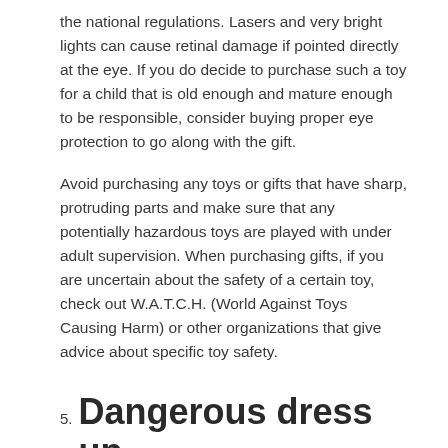the national regulations. Lasers and very bright lights can cause retinal damage if pointed directly at the eye. If you do decide to purchase such a toy for a child that is old enough and mature enough to be responsible, consider buying proper eye protection to go along with the gift.
Avoid purchasing any toys or gifts that have sharp, protruding parts and make sure that any potentially hazardous toys are played with under adult supervision. When purchasing gifts, if you are uncertain about the safety of a certain toy, check out W.A.T.C.H. (World Against Toys Causing Harm) or other organizations that give advice about specific toy safety.
5. Dangerous dress up